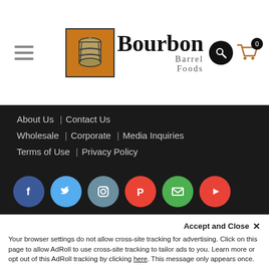[Figure (logo): Bourbon Barrel Foods logo with barrel icon and brand name]
About Us  |  Contact Us
Wholesale  |  Corporate  |  Media Inquiries
Terms of Use  |  Privacy Policy
[Figure (infographic): Social media icons: Facebook, Twitter, Instagram, Pinterest, Email, YouTube]
CONTACT
Bourbon Barrel Foods is located in the historic Butchertown Market at 1201 Story Ave., Ste. 175 in Louisville, Kentucky 40206.
Accept and Close ✕
Your browser settings do not allow cross-site tracking for advertising. Click on this page to allow AdRoll to use cross-site tracking to tailor ads to you. Learn more or opt out of this AdRoll tracking by clicking here. This message only appears once.